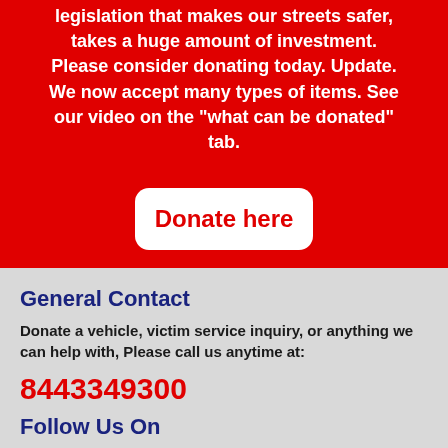legislation that makes our streets safer, takes a huge amount of investment. Please consider donating today. Update. We now accept many types of items. See our video on the "what can be donated" tab.
[Figure (other): White rounded rectangle button with red text 'Donate here']
General Contact
Donate a vehicle, victim service inquiry, or anything we can help with, Please call us anytime at:
8443349300
Follow Us On